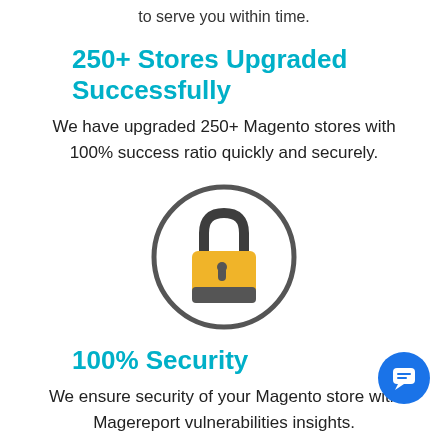to serve you within time.
250+ Stores Upgraded Successfully
We have upgraded 250+ Magento stores with 100% success ratio quickly and securely.
[Figure (illustration): A padlock icon inside a circle — gold/yellow padlock body with dark shackle on white circular background with grey border]
100% Security
We ensure security of your Magento store with Magereport vulnerabilities insights.
[Figure (illustration): Partial view of a chart/graph icon at the bottom of the page]
[Figure (illustration): Blue circular chat/message button in bottom-right corner]